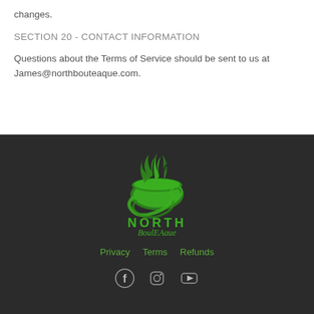changes.
SECTION 20 - CONTACT INFORMATION
Questions about the Terms of Service should be sent to us at James@northbouteaque.com.
[Figure (logo): North BoulEAque logo: green flame/bowl graphic above text 'NORTH BoulEAque' in green on dark background]
Privacy   Terms   Refunds
Facebook, Instagram, YouTube social icons